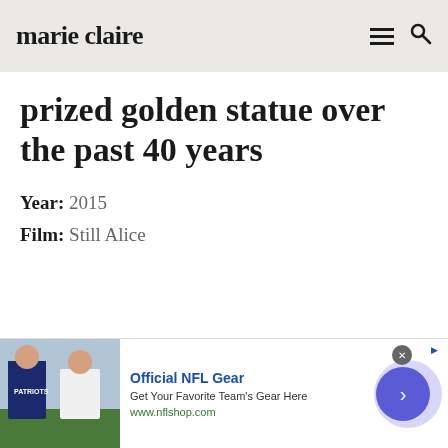marie claire
prized golden statue over the past 40 years
Year: 2015
Film: Still Alice